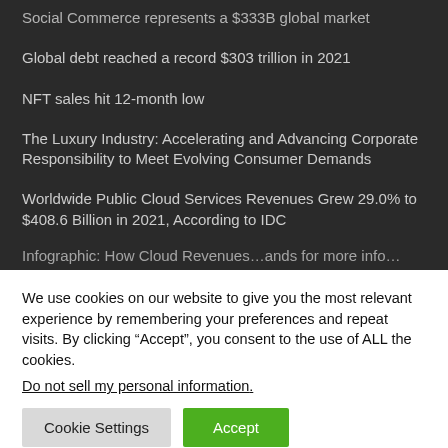Social Commerce represents a $333B global market
Global debt reached a record $303 trillion in 2021
NFT sales hit 12-month low
The Luxury Industry: Accelerating and Advancing Corporate Responsibility to Meet Evolving Consumer Demands
Worldwide Public Cloud Services Revenues Grew 29.0% to $408.6 Billion in 2021, According to IDC
Infographic...
We use cookies on our website to give you the most relevant experience by remembering your preferences and repeat visits. By clicking “Accept”, you consent to the use of ALL the cookies.
Do not sell my personal information.